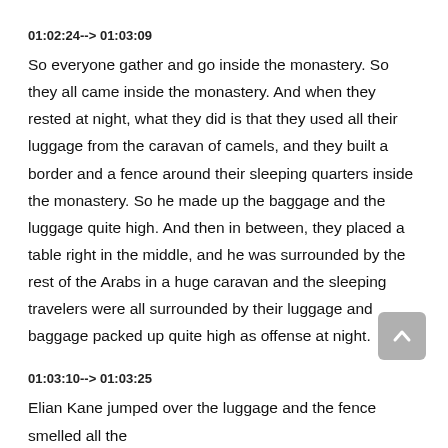01:02:24--> 01:03:09
So everyone gather and go inside the monastery. So they all came inside the monastery. And when they rested at night, what they did is that they used all their luggage from the caravan of camels, and they built a border and a fence around their sleeping quarters inside the monastery. So he made up the baggage and the luggage quite high. And then in between, they placed a table right in the middle, and he was surrounded by the rest of the Arabs in a huge caravan and the sleeping travelers were all surrounded by their luggage and baggage packed up quite high as offense at night.
01:03:10--> 01:03:25
Elian Kane jumped over the luggage and the fence smelled all the different Arabs and he actually approached or Deva and ripping him